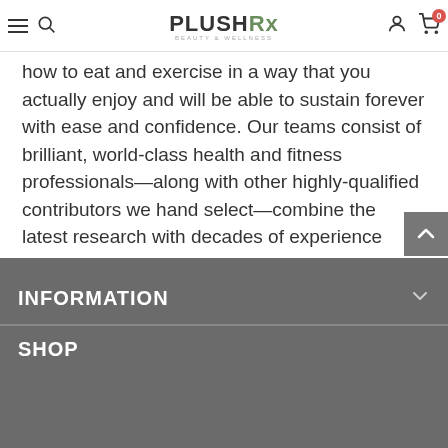PLUSHRx BEAUTY & WELLNESS — navigation header with hamburger menu, search, logo, user account, and cart (0)
how to eat and exercise in a way that you actually enjoy and will be able to sustain forever with ease and confidence. Our teams consist of brilliant, world-class health and fitness professionals—along with other highly-qualified contributors we hand select—combine the latest research with decades of experience working with women in the real world to offer solutions that help women reach their goals in a realistic, sustainable, and compassionate way
INFORMATION
SHOP